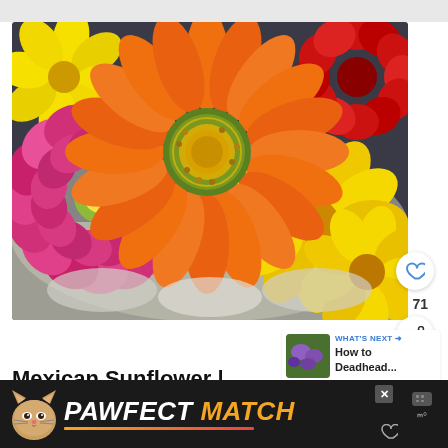[Figure (photo): Colorful flowers including orange tithonia/Mexican sunflower in center, pink zinnia on left, yellow marigolds on right, red flower top right, in white vases/containers]
Mexican Sunflower | Growing Tithonia Rotundifolia from Seed
[Figure (photo): WHAT'S NEXT arrow - How to Deadhead... thumbnail of purple flowers]
[Figure (illustration): PAWFECT MATCH advertisement banner with cartoon cat, orange and red gradient, with close X button and heart icon]